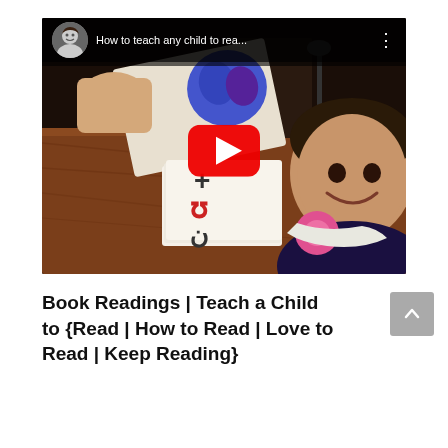[Figure (screenshot): YouTube video thumbnail showing a child learning to read with flashcards at a wooden table. A smiling woman's avatar appears in the top-left. Title reads 'How to teach any child to rea...' A large red YouTube play button is centered over the image.]
Book Readings | Teach a Child to {Read | How to Read | Love to Read | Keep Reading}